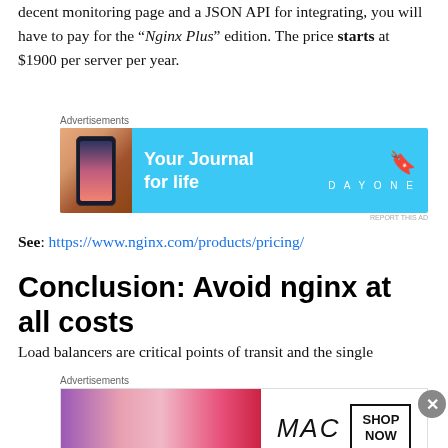decent monitoring page and a JSON API for integrating, you will have to pay for the “Nginx Plus” edition. The price starts at $1900 per server per year.
[Figure (other): Advertisement banner: DayOne journal app ad with blue background, phone image on left, 'Your Journal for life' text, and DayOne logo with bookmark icon on right]
See: https://www.nginx.com/products/pricing/
Conclusion: Avoid nginx at all costs
Load balancers are critical points of transit and the single
[Figure (other): Advertisement banner: MAC cosmetics ad with lipsticks image on left, MAC logo and SHOP NOW button on right]